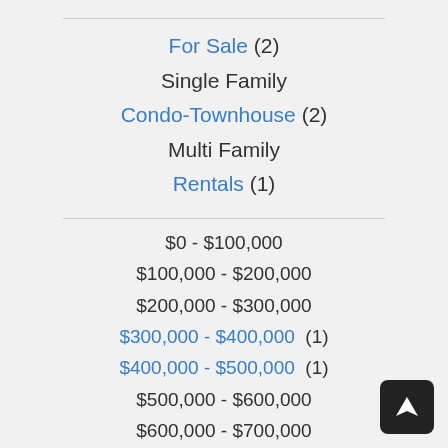For Sale (2)
Single Family
Condo-Townhouse (2)
Multi Family
Rentals (1)
$0 - $100,000
$100,000 - $200,000
$200,000 - $300,000
$300,000 - $400,000  (1)
$400,000 - $500,000  (1)
$500,000 - $600,000
$600,000 - $700,000
$700,000 - $800,000